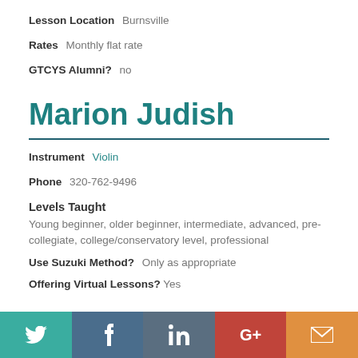Lesson Location   Burnsville
Rates   Monthly flat rate
GTCYS Alumni?   no
Marion Judish
Instrument   Violin
Phone   320-762-9496
Levels Taught
Young beginner, older beginner, intermediate, advanced, pre-collegiate, college/conservatory level, professional
Use Suzuki Method?   Only as appropriate
Offering Virtual Lessons?   Yes